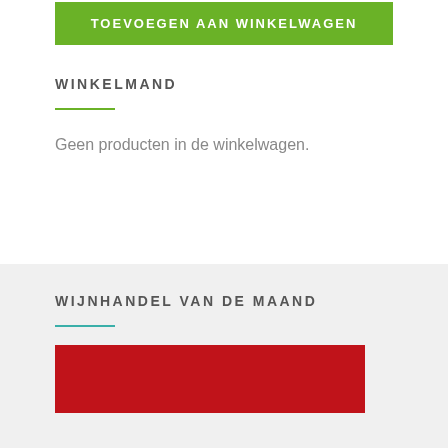[Figure (other): Green 'TOEVOEGEN AAN WINKELWAGEN' button at top of page]
WINKELMAND
Geen producten in de winkelwagen.
WIJNHANDEL VAN DE MAAND
[Figure (photo): Red image block at the bottom of the page]